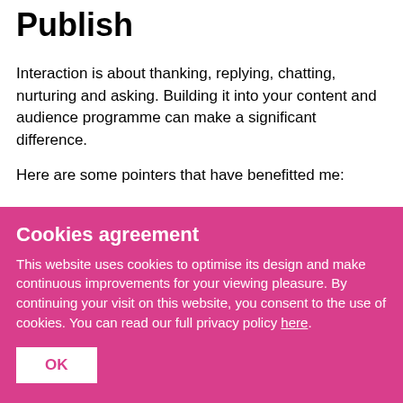Publish
Interaction is about thanking, replying, chatting, nurturing and asking. Building it into your content and audience programme can make a significant difference.
Here are some pointers that have benefitted me:
Cookies agreement
This website uses cookies to optimise its design and make continuous improvements for your viewing pleasure. By continuing your visit on this website, you consent to the use of cookies. You can read our full privacy policy here.
OK